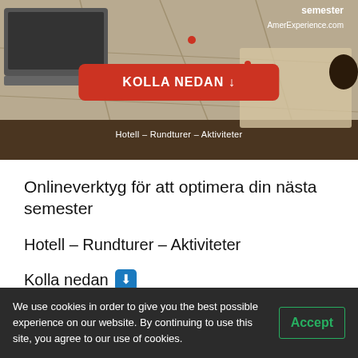[Figure (screenshot): Hero banner image showing a laptop, a map, and a person's hand with a pen. Contains text 'semester', 'AmerExperience.com', a red button 'KOLLA NEDAN ↓', and subtitle text 'Hotell – Rundturer – Aktiviteter']
Onlineverktyg för att optimera din nästa semester
Hotell – Rundturer – Aktiviteter
Kolla nedan ⬇
We use cookies in order to give you the best possible experience on our website. By continuing to use this site, you agree to our use of cookies.